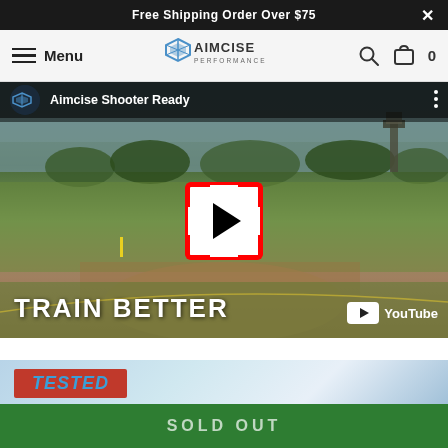Free Shipping Order Over $75
Menu | AIMCISE PERFORMANCE
[Figure (screenshot): YouTube video thumbnail showing 'Aimcise Shooter Ready' with a man holding a rifle on an outdoor shooting range, text 'TRAIN BETTER' at bottom, YouTube play button overlay]
[Figure (other): Partially visible 'TESTED' badge on a blue gradient background]
SOLD OUT